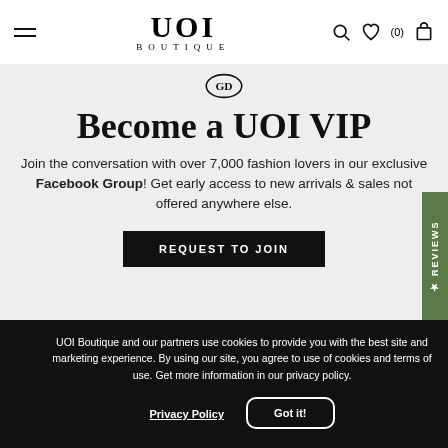UOI BOUTIQUE
[Figure (logo): UOI Boutique logo with circular GD icon above]
Become a UOI VIP
Join the conversation with over 7,000 fashion lovers in our exclusive Facebook Group! Get early access to new arrivals & sales not offered anywhere else.
REQUEST TO JOIN
UOI Boutique and our partners use cookies to provide you with the best site and marketing experience. By using our site, you agree to use of cookies and terms of use. Get more information in our privacy policy.
Privacy Policy
Got it!